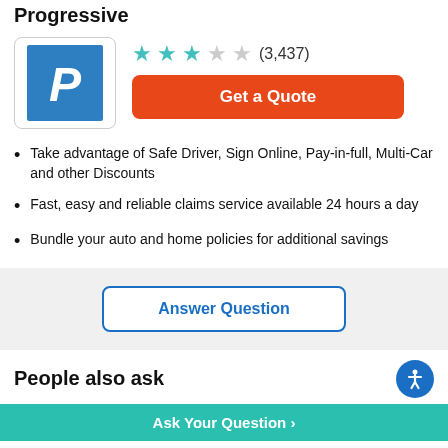Progressive
[Figure (logo): Progressive insurance logo: blue square with white italic P]
★★★☆☆ (3,437)
Get a Quote
Take advantage of Safe Driver, Sign Online, Pay-in-full, Multi-Car and other Discounts
Fast, easy and reliable claims service available 24 hours a day
Bundle your auto and home policies for additional savings
Answer Question
People also ask
Ask Your Question >